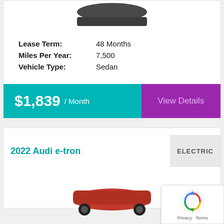[Figure (photo): Partial top of a dark sedan car image, cropped]
Lease Term: 48 Months
Miles Per Year: 7,500
Vehicle Type: Sedan
$1,839 / Month
View Details
2022 Audi e-tron
ELECTRIC
[Figure (photo): Partial bottom of a red Audi e-tron SUV image]
[Figure (other): reCAPTCHA badge with Privacy and Terms links]